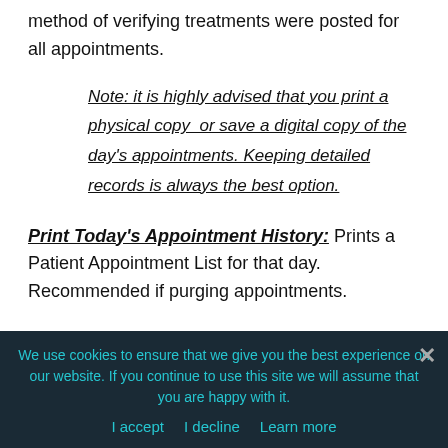method of verifying treatments were posted for all appointments.
Note: it is highly advised that you print a physical copy or save a digital copy of the day's appointments. Keeping detailed records is always the best option.
Print Today's Appointment History: Prints a Patient Appointment List for that day. Recommended if purging appointments.
We use cookies to ensure that we give you the best experience on our website. If you continue to use this site we will assume that you are happy with it.
I accept   I decline   Learn more